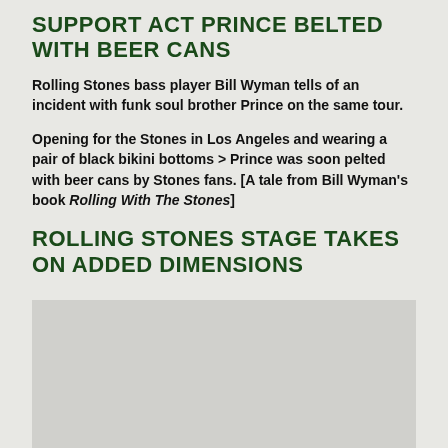SUPPORT ACT PRINCE BELTED WITH BEER CANS
Rolling Stones bass player Bill Wyman tells of an incident with funk soul brother Prince on the same tour.
Opening for the Stones in Los Angeles and wearing a pair of black bikini bottoms > Prince was soon pelted with beer cans by Stones fans. [A tale from Bill Wyman's book Rolling With The Stones]
ROLLING STONES STAGE TAKES ON ADDED DIMENSIONS
[Figure (photo): A large image placeholder (light grey rectangle) below the second headline, partially visible at the bottom of the page.]